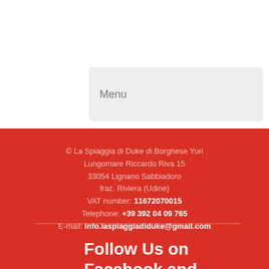Menu
© La Spiaggia di Duke di Borghese Yuri
Lungomare Riccardo Riva 15
33054 Lignano Sabbiadoro
fraz. Riviera (Udine)
VAT number: 11672070015
Telephone: +39 392 04 09 765
E-mail: info.laspiaggiadiduke@gmail.com
Follow Us on Facebook and Instagram!